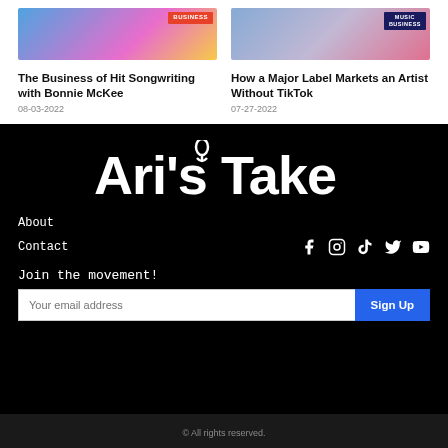[Figure (photo): Two people with colorful background and BUSINESS badge on left card image]
The Business of Hit Songwriting with Bonnie McKee
08-03-2022
[Figure (photo): Two people with pink/purple background and MUSIC BUSINESS badge on right card image]
How a Major Label Markets an Artist Without TikTok
07-27-2022
[Figure (logo): Ari's Take logo in white on black background with microphone icon]
About
Contact
Join the movement!
Your email address
Sign Up
© All rights reserved.